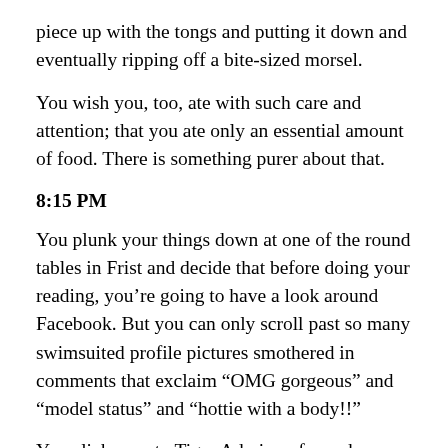piece up with the tongs and putting it down and eventually ripping off a bite-sized morsel.
You wish you, too, ate with such care and attention; that you ate only an essential amount of food. There is something purer about that.
8:15 PM
You plunk your things down at one of the round tables in Frist and decide that before doing your reading, you're going to have a look around Facebook. But you can only scroll past so many swimsuited profile pictures smothered in comments that exclaim “OMG gorgeous” and “model status” and “hottie with a body!!”
You click over to Tiger Admirers for a cheap laugh at the poorly written love poetry. Treacly laments abound: “I guess we were never meant to be but I just can’t get over you.” But